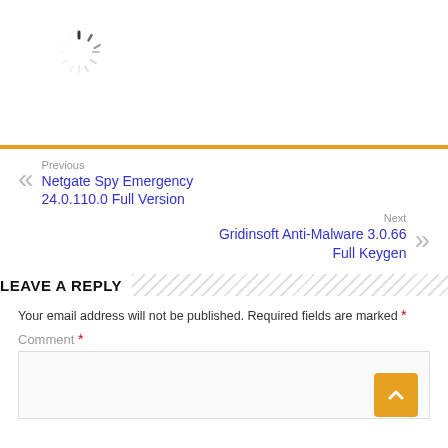[Figure (illustration): Loading spinner / activity indicator icon, gray dashed radial lines forming a circle]
Previous
Netgate Spy Emergency 24.0.110.0 Full Version
Next
Gridinsoft Anti-Malware 3.0.66 Full Keygen
LEAVE A REPLY
Your email address will not be published. Required fields are marked *
Comment *